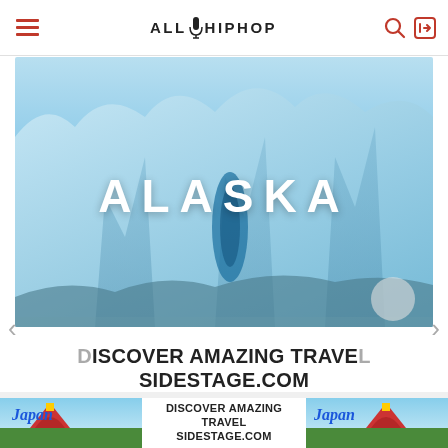ALLHIPHOP
[Figure (photo): Blue glacier ice with white text overlay reading ALASKA — travel advertisement banner]
[Figure (other): Left navigation arrow for carousel]
[Figure (other): Right navigation arrow for carousel]
DISCOVER AMAZING TRAVEL SIDESTAGE.COM
©AllHipHop 2020   DMCA
[Figure (infographic): Japan travel advertisement with pagoda image and text: DISCOVER AMAZING TRAVEL SIDESTAGE.COM]